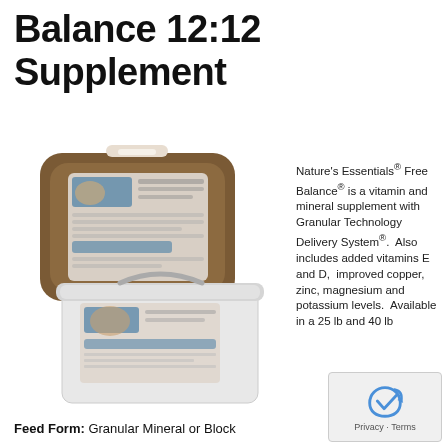Balance 12:12 Supplement
[Figure (photo): Product photo showing two Nature's Essentials Free Balance supplement containers: a brown mineral block with label and a white plastic bucket/tub with lid and handle.]
Nature's Essentials® Free Balance® is a vitamin and mineral supplement with Granular Technology Delivery System®.  Also includes added vitamins E and D,  improved copper, zinc, magnesium and potassium levels.  Available in a 25 lb and 40 lb
Feed Form: Granular Mineral or Block